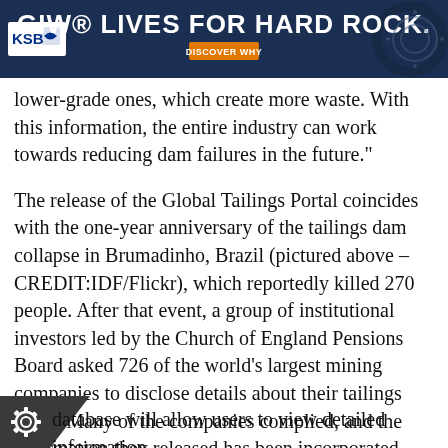[Figure (other): GIW banner advertisement with dark blue background, KSB logo on left, gear graphic on right. Text: 'GIW® LIVES FOR HARD ROCK.' with orange 'DISCOVER WHY' button.]
lower-grade ones, which create more waste. With this information, the entire industry can work towards reducing dam failures in the future."
The release of the Global Tailings Portal coincides with the one-year anniversary of the tailings dam collapse in Brumadinho, Brazil (pictured above – CREDIT:IDF/Flickr), which reportedly killed 270 people. After that event, a group of institutional investors led by the Church of England Pensions Board asked 726 of the world's largest mining companies to disclose details about their tailings dams. Many of the companies complied, and the information they released has been incorporated into the database, GRID-Arendal said.
database will allow users to view detailed information